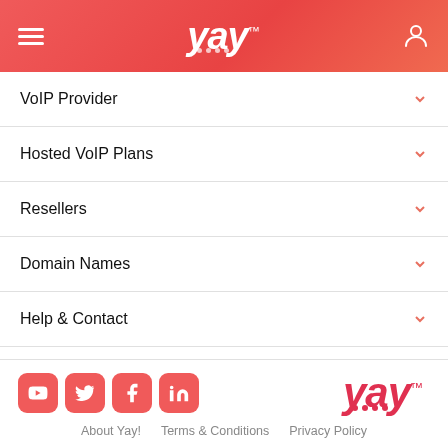yay
VoIP Provider
Hosted VoIP Plans
Resellers
Domain Names
Help & Contact
Login / Register
About Yay!  Terms & Conditions  Privacy Policy